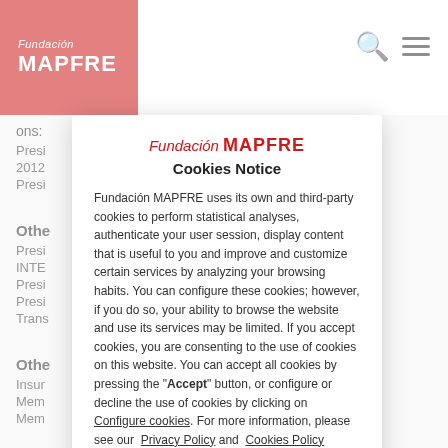[Figure (logo): Fundación MAPFRE logo — white text on red background]
ons:
Presi... ce
2012
Presi
Othe positions:
Presi
INTE
Presi
Presi
Trans
Othe ons:
Insur
Mem
Mem
[Figure (screenshot): Fundación MAPFRE Cookies Notice modal overlay with logo, title 'Cookies Notice', body text about cookie usage, links to Configure cookies, Privacy Policy, Cookies Policy, and a red Accept button]
Fundación MAPFRE uses its own and third-party cookies to perform statistical analyses, authenticate your user session, display content that is useful to you and improve and customize certain services by analyzing your browsing habits. You can configure these cookies; however, if you do so, your ability to browse the website and use its services may be limited. If you accept cookies, you are consenting to the use of cookies on this website. You can accept all cookies by pressing the "Accept" button, or configure or decline the use of cookies by clicking on Configure cookies. For more information, please see our Privacy Policy and Cookies Policy.